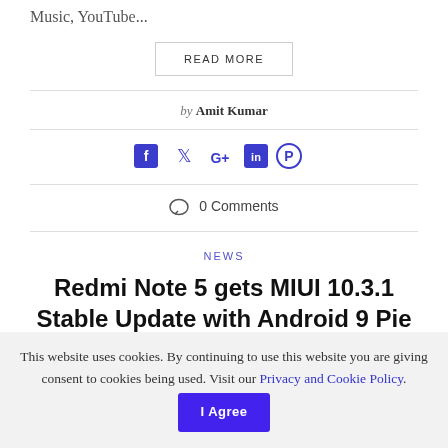Music, YouTube...
READ MORE
by Amit Kumar
[Figure (infographic): Social sharing icons: Facebook, Twitter, Google+, LinkedIn, Pinterest in blue/indigo color]
0 Comments
NEWS
Redmi Note 5 gets MIUI 10.3.1 Stable Update with Android 9 Pie
This website uses cookies. By continuing to use this website you are giving consent to cookies being used. Visit our Privacy and Cookie Policy.